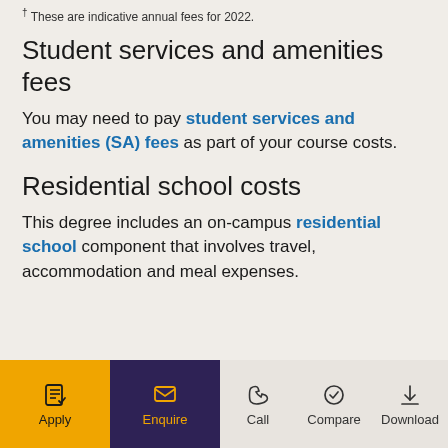† These are indicative annual fees for 2022.
Student services and amenities fees
You may need to pay student services and amenities (SA) fees as part of your course costs.
Residential school costs
This degree includes an on-campus residential school component that involves travel, accommodation and meal expenses.
Apply  Enquire  Call  Compare  Download